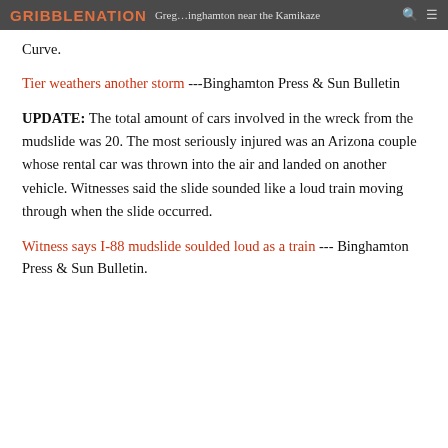GRIBBLENATION Greg ... Binghamton near the Kamikaze Curve.
Binghamton near the Kamikaze Curve.
Tier weathers another storm ---Binghamton Press & Sun Bulletin
UPDATE: The total amount of cars involved in the wreck from the mudslide was 20. The most seriously injured was an Arizona couple whose rental car was thrown into the air and landed on another vehicle. Witnesses said the slide sounded like a loud train moving through when the slide occurred.
Witness says I-88 mudslide soulded loud as a train --- Binghamton Press & Sun Bulletin.